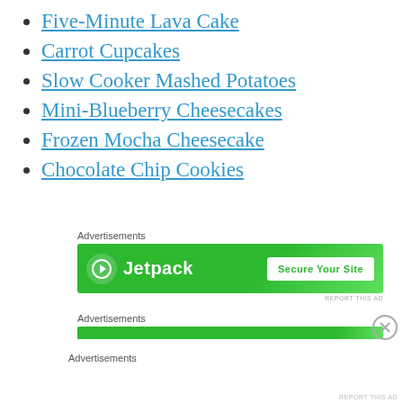Five-Minute Lava Cake
Carrot Cupcakes
Slow Cooker Mashed Potatoes
Mini-Blueberry Cheesecakes
Frozen Mocha Cheesecake
Chocolate Chip Cookies
[Figure (screenshot): Jetpack advertisement banner with green background showing 'Jetpack' logo and 'Secure Your Site' button]
Advertisements
Advertisements
Advertisements